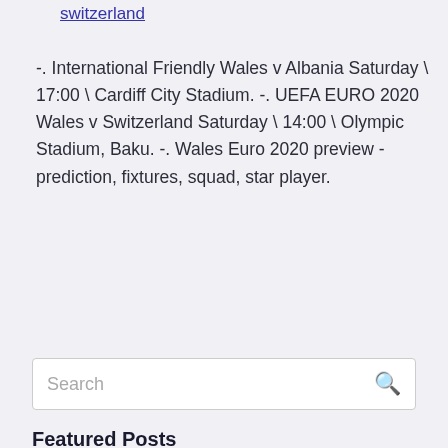switzerland
-. International Friendly Wales v Albania Saturday \ 17:00 \ Cardiff City Stadium. -. UEFA EURO 2020 Wales v Switzerland Saturday \ 14:00 \ Olympic Stadium, Baku. -. Wales Euro 2020 preview - prediction, fixtures, squad, star player.
Featured Posts